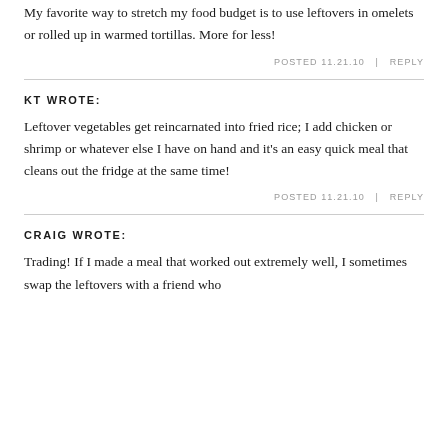My favorite way to stretch my food budget is to use leftovers in omelets or rolled up in warmed tortillas. More for less!
POSTED 11.21.10  |  REPLY
KT WROTE:
Leftover vegetables get reincarnated into fried rice; I add chicken or shrimp or whatever else I have on hand and it's an easy quick meal that cleans out the fridge at the same time!
POSTED 11.21.10  |  REPLY
CRAIG WROTE:
Trading! If I made a meal that worked out extremely well, I sometimes swap the leftovers with a friend who